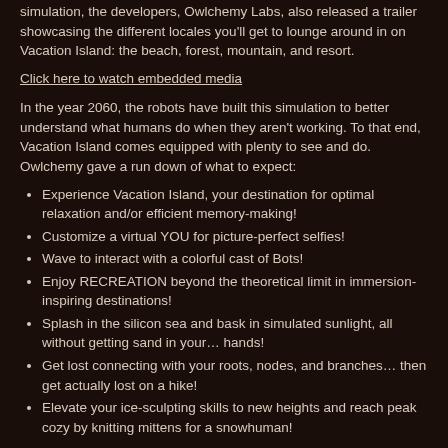simulation, the developers, Owlchemy Labs, also released a trailer showcasing the different locales you'll get to lounge around in on Vacation Island: the beach, forest, mountain, and resort.
Click here to watch embedded media
In the year 2060, the robots have built this simulation to better understand what humans do when they aren't working. To that end, Vacation Island comes equipped with plenty to see and do. Owlchemy gave a run down of what to expect:
Experience Vacation Island, your destination for optimal relaxation and/or efficient memory-making!
Customize a virtual YOU for picture-perfect selfies!
Wave to interact with a colorful cast of Bots!
Enjoy RECREATION beyond the theoretical limit in immersion-inspiring destinations!
Splash in the silicon sea and bask in simulated sunlight, all without getting sand in your… hands!
Get lost connecting with your roots, nodes, and branches… then get actually lost on a hike!
Elevate your ice-sculpting skills to new heights and reach peak cozy by knitting mittens for a snowhuman!